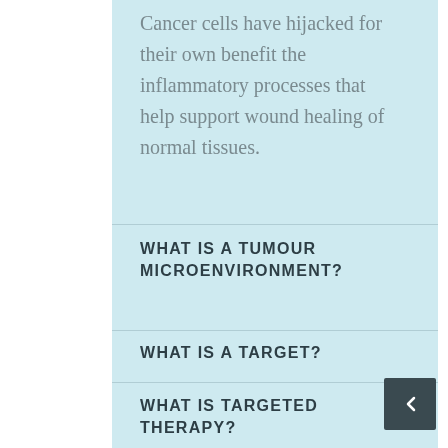Cancer cells have hijacked for their own benefit the inflammatory processes that help support wound healing of normal tissues.
WHAT IS A TUMOUR MICROENVIRONMENT?
WHAT IS A TARGET?
WHAT IS TARGETED THERAPY?